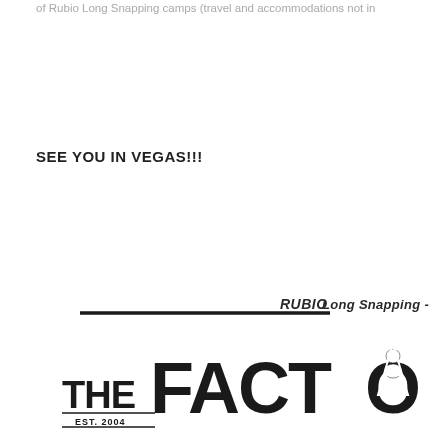of Rubio Long Snapping camps (travel and accommodations not in
SEE YOU IN VEGAS!!!
[Figure (logo): Rubio Long Snapping logo with diagonal line and italic text reading 'RUBIO Long Snapping -', followed by 'THE FACTO' large bold text with 'EST. 2004' and a football player figure in the letter O]